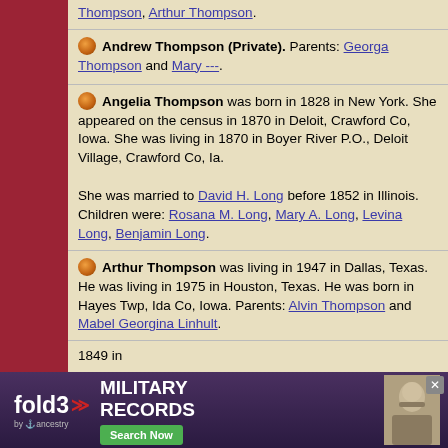Thompson, Arthur Thompson.
Andrew Thompson (Private). Parents: Georga Thompson and Mary ---.
Angelia Thompson was born in 1828 in New York. She appeared on the census in 1870 in Deloit, Crawford Co, Iowa. She was living in 1870 in Boyer River P.O., Deloit Village, Crawford Co, Ia. She was married to David H. Long before 1852 in Illinois. Children were: Rosana M. Long, Mary A. Long, Levina Long, Benjamin Long.
Arthur Thompson was living in 1947 in Dallas, Texas. He was living in 1975 in Houston, Texas. He was born in Hayes Twp, Ida Co, Iowa. Parents: Alvin Thompson and Mabel Georgina Linhult.
1849 in
[Figure (screenshot): fold3 by Ancestry advertisement banner for Military Records with Search Now button and soldier photo]